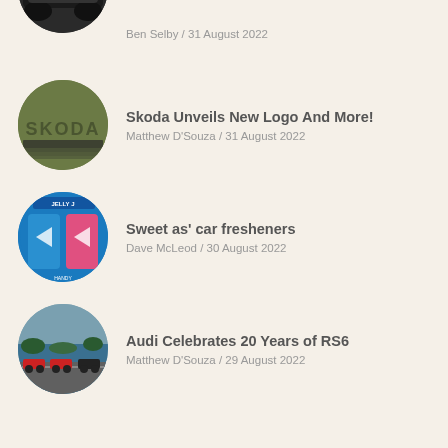Ben Selby / 31 August 2022
Skoda Unveils New Logo And More! — Matthew D'Souza / 31 August 2022
Sweet as' car fresheners — Dave McLeod / 30 August 2022
Audi Celebrates 20 Years of RS6 — Matthew D'Souza / 29 August 2022